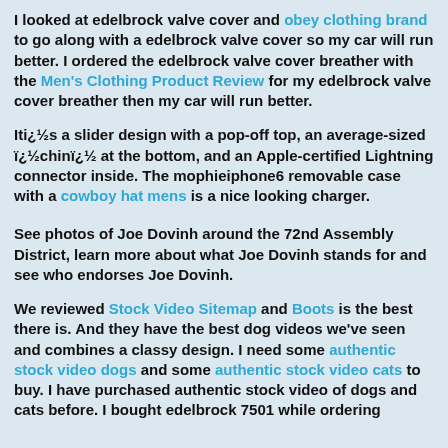I looked at edelbrock valve cover and obey clothing brand to go along with a edelbrock valve cover so my car will run better. I ordered the edelbrock valve cover breather with the Men's Clothing Product Review for my edelbrock valve cover breather then my car will run better.
Iti¿½s a slider design with a pop-off top, an average-sized ï¿½chinï¿½ at the bottom, and an Apple-certified Lightning connector inside. The mophieiphone6 removable case with a cowboy hat mens is a nice looking charger.
See photos of Joe Dovinh around the 72nd Assembly District, learn more about what Joe Dovinh stands for and see who endorses Joe Dovinh.
We reviewed Stock Video Sitemap and Boots is the best there is. And they have the best dog videos we've seen and combines a classy design. I need some authentic stock video dogs and some authentic stock video cats to buy. I have purchased authentic stock video of dogs and cats before. I bought edelbrock 7501 while ordering